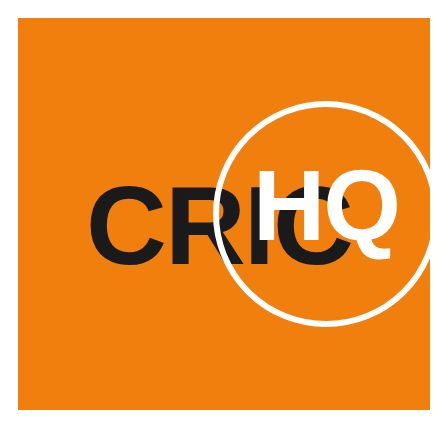[Figure (logo): CricHQ logo: orange square background with the word CRIC in dark/black bold letters and HQ in white bold letters inside a white circle outline.]